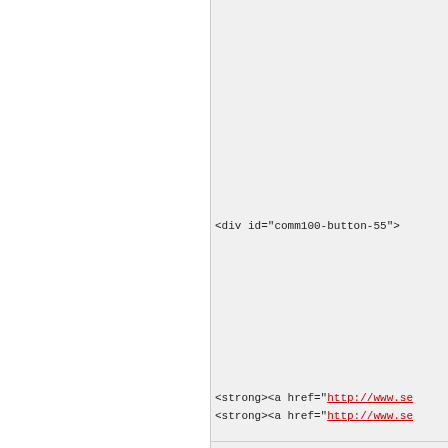<div id="comm100-button-55">
<strong><a href="http://www.se..."
<strong><a href="http://www.se..."
ekallbergbrit | 8. 08. 2021, 01:
<ul><li><strong><a href="http:// href="http://www.moncler-shops... shops.ne...
Zavřít reklamu
Zavřít reklamu
Reklama
Dotace na fotovoltaiku?
Jak velkou fotovoltaickou elektrárnu si můžete pořídit, aby se vám vyplatila.